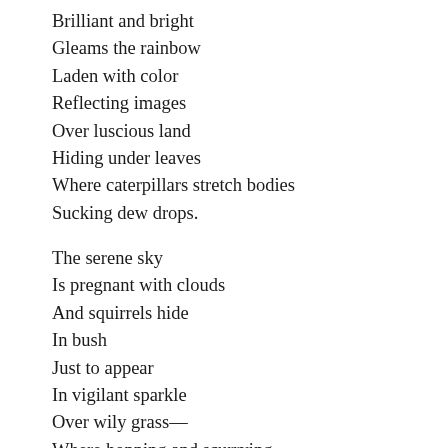Brilliant and bright
Gleams the rainbow
Laden with color
Reflecting images
Over luscious land
Hiding under leaves
Where caterpillars stretch bodies
Sucking dew drops.

The serene sky
Is pregnant with clouds
And squirrels hide
In bush
Just to appear
In vigilant sparkle
Over wily grass—
Where hopping and scurrying
I come to the page...